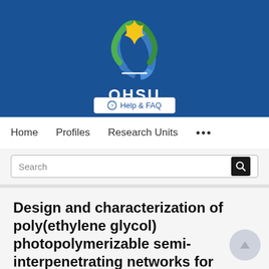[Figure (logo): OHSU (Oregon Health & Science University) logo with flame and DNA helix design in blue, green, and gold on a dark blue banner background, with 'OHSU' text in white below the flame graphic and a white underline.]
⊕ Help & FAQ
Home   Profiles   Research Units   •••
Search
Design and characterization of poly(ethylene glycol) photopolymerizable semi-interpenetrating networks for